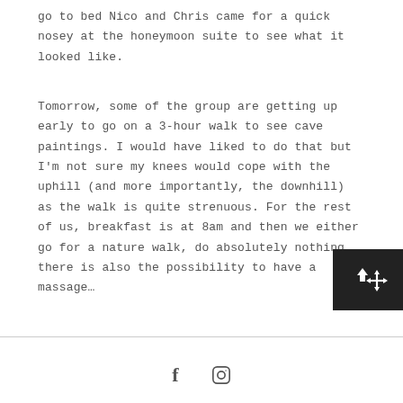go to bed Nico and Chris came for a quick nosey at the honeymoon suite to see what it looked like.
Tomorrow, some of the group are getting up early to go on a 3-hour walk to see cave paintings. I would have liked to do that but I'm not sure my knees would cope with the uphill (and more importantly, the downhill) as the walk is quite strenuous. For the rest of us, breakfast is at 8am and then we either go for a nature walk, do absolutely nothing, there is also the possibility to have a massage…
[Figure (other): Navigation button (dark background) with up arrow and move/pan cross-arrow icon, positioned bottom-right of content area]
[Figure (other): Social media icons: Facebook (f) and Instagram (camera) centered at the bottom of the page, separated by a horizontal divider line]